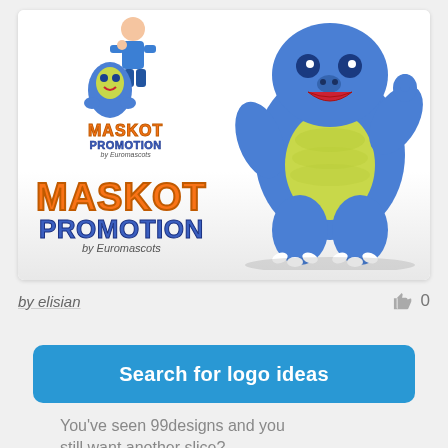[Figure (illustration): Card showing Maskot Promotion by Euromascots logo designs — a small blue cartoon creature with a human mascot on the left (small scale), a large blue dinosaur/creature mascot on the right, and a larger version of the Maskot Promotion logo at bottom-left of the card.]
by elisian
0
Search for logo ideas
You've seen 99designs and you still want another slice?